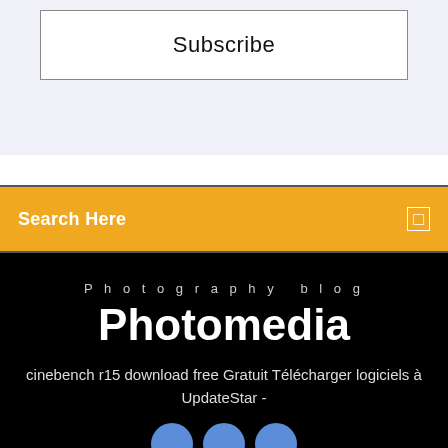Subscribe
Search Here
Photography blog
Photomedia
cinebench r15 download free Gratuit Télécharger logiciels à UpdateStar -
[Figure (illustration): Three blue social media circle icons partially visible at bottom of black footer section]